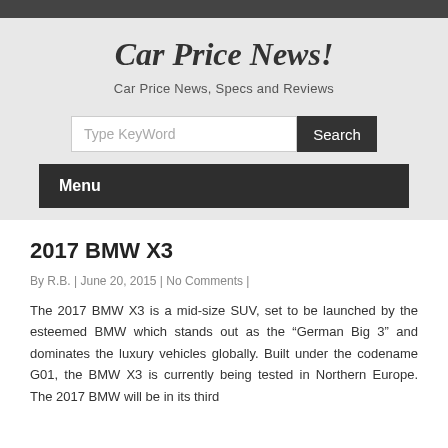Car Price News!
Car Price News, Specs and Reviews
2017 BMW X3
By R.B. | June 20, 2015 | No Comments |
The 2017 BMW X3 is a mid-size SUV, set to be launched by the esteemed BMW which stands out as the "German Big 3" and dominates the luxury vehicles globally. Built under the codename G01, the BMW X3 is currently being tested in Northern Europe. The 2017 BMW will be in its third